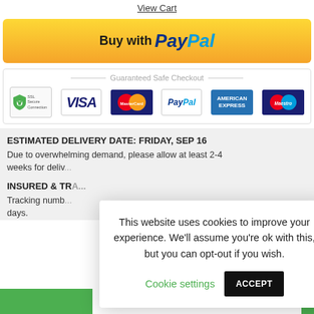View Cart
[Figure (logo): Buy with PayPal button - yellow/gold background with PayPal logo]
Guaranteed Safe Checkout
[Figure (infographic): Payment method icons: SSL Secure Connection, VISA, MasterCard, PayPal, American Express, Maestro]
ESTIMATED DELIVERY DATE: FRIDAY, SEP 16
Due to overwhelming demand, please allow at least 2-4 weeks for deliv...
INSURED & TRA...
Tracking numb... days.
This website uses cookies to improve your experience. We'll assume you're ok with this, but you can opt-out if you wish. Cookie settings ACCEPT